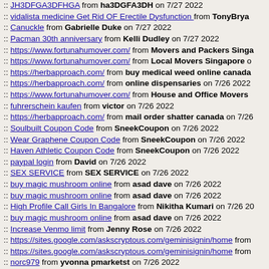JH3DFGA3DFHGA from ha3DGFA3DH on 7/27 2022
vidalista medicine Get Rid OF Erectile Dysfunction from TonyBryan
Canuckle from Gabrielle Duke on 7/27 2022
Pacman 30th anniversary from Kelli Dudley on 7/27 2022
https://www.fortunahumover.com/ from Movers and Packers Singa
https://www.fortunahumover.com/ from Local Movers Singapore o
https://herbapproach.com/ from buy medical weed online canada
https://herbapproach.com/ from online dispensaries on 7/26 2022
https://www.fortunahumover.com/ from House and Office Movers
fuhrerschein kaufen from victor on 7/26 2022
https://herbapproach.com/ from mail order shatter canada on 7/26
Soulbuilt Coupon Code from SneekCoupon on 7/26 2022
Wear Graphene Coupon Code from SneekCoupon on 7/26 2022
Haven Athletic Coupon Code from SneekCoupon on 7/26 2022
paypal login from David on 7/26 2022
SEX SERVICE from SEX SERVICE on 7/26 2022
buy magic mushroom online from asad dave on 7/26 2022
buy magic mushroom online from asad dave on 7/26 2022
High Profile Call Girls In Bangalore from Nikitha Kumari on 7/26 20
buy magic mushroom online from asad dave on 7/26 2022
Increase Venmo limit from Jenny Rose on 7/26 2022
https://sites.google.com/askscryptous.com/geminisignin/home from
https://sites.google.com/askscryptous.com/geminisignin/home from
norc979 from yvonna pmarketst on 7/26 2022
Belboa sports from belboasports on 7/26 2022
The MetaMask Sign in accounts provide an exclusive outlet to keep
Super Fildena | Best Use| Strong Ed Pill | Cheap price from Jasonr
do chekc out the link from jackson on 7/26 2022
Mr.Journo from Mr.Journo on 7/26 2022
making the company the most recent cruise line from alarmedques
nargin from nargin on 7/26 2022